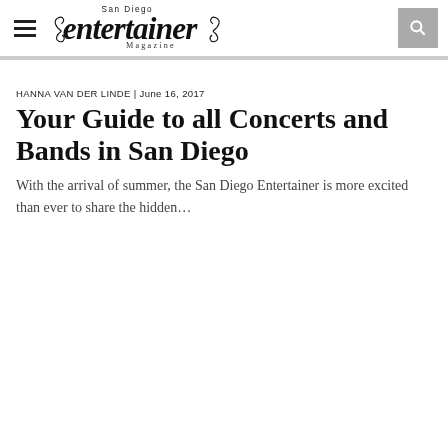San Diego Entertainer Magazine
HANNA VAN DER LINDE | June 16, 2017
Your Guide to all Concerts and Bands in San Diego
With the arrival of summer, the San Diego Entertainer is more excited than ever to share the hidden...